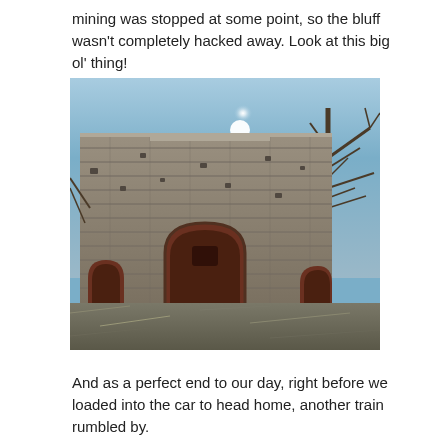mining was stopped at some point, so the bluff wasn't completely hacked away. Look at this big ol' thing!
[Figure (photo): Low-angle photograph looking up at a large stone blast furnace structure with multiple arched openings. The building is made of cut limestone blocks. Three arched tunnel openings are visible at the base, with a large central arch and two smaller flanking arches. Bare winter trees and a blue sky with a bright sun visible at the top. Dead grass in the foreground.]
And as a perfect end to our day, right before we loaded into the car to head home, another train rumbled by.